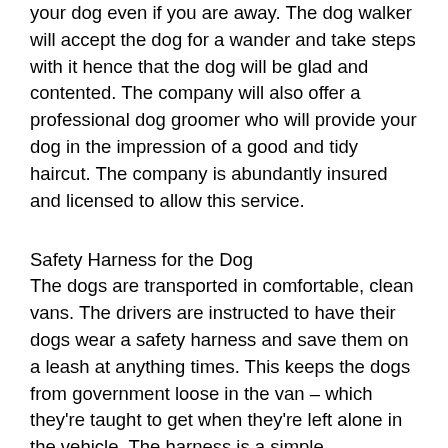your dog even if you are away. The dog walker will accept the dog for a wander and take steps with it hence that the dog will be glad and contented. The company will also offer a professional dog groomer who will provide your dog in the impression of a good and tidy haircut. The company is abundantly insured and licensed to allow this service.
Safety Harness for the Dog
The dogs are transported in comfortable, clean vans. The drivers are instructed to have their dogs wear a safety harness and save them on a leash at anything times. This keeps the dogs from government loose in the van – which they're taught to get when they're left alone in the vehicle. The harness is a simple, lightweight, and highly versatile piece of equipment that can be worn by any dog of any size or breed. It features a durable,